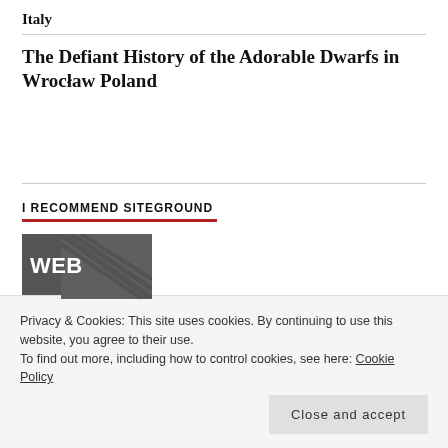Italy
The Defiant History of the Adorable Dwarfs in Wrocław Poland
I RECOMMEND SITEGROUND
[Figure (photo): Web hosting promotional image with large WEB text over a dark textured background]
Privacy & Cookies: This site uses cookies. By continuing to use this website, you agree to their use.
To find out more, including how to control cookies, see here: Cookie Policy
Close and accept